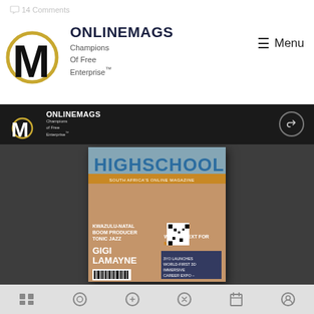14 Comments
[Figure (logo): ONLINEMAGS logo with gold circle M symbol and text 'Champions Of Free Enterprise™']
≡ Menu
[Figure (screenshot): ONLINEMAGS dark sub-header bar with logo repeated and share icon]
[Figure (photo): HIGHSCHOOL magazine cover featuring Gigi Lamayne in denim overalls. Cover text includes: HIGHSCHOOL, KWAZULU-NATAL BOOM PRODUCER TONIC JAZZ, GIGI LAMAYNE, WHAT'S NEXT FOR NASTIES, 3YO LAUNCHES WORLD-FIRST 3D IMMERSIVE CAREER EXPO – SWIVEE]
Bottom navigation bar with icons